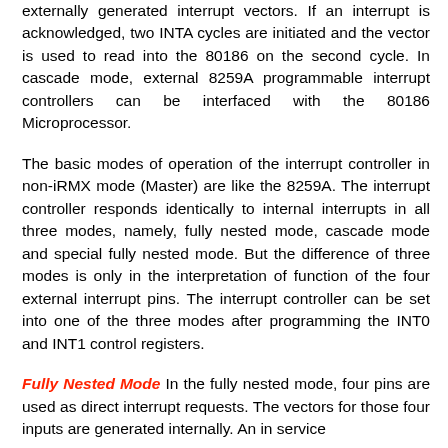externally generated interrupt vectors. If an interrupt is acknowledged, two INTA cycles are initiated and the vector is used to read into the 80186 on the second cycle. In cascade mode, external 8259A programmable interrupt controllers can be interfaced with the 80186 Microprocessor.
The basic modes of operation of the interrupt controller in non-iRMX mode (Master) are like the 8259A. The interrupt controller responds identically to internal interrupts in all three modes, namely, fully nested mode, cascade mode and special fully nested mode. But the difference of three modes is only in the interpretation of function of the four external interrupt pins. The interrupt controller can be set into one of the three modes after programming the INT0 and INT1 control registers.
Fully Nested Mode In the fully nested mode, four pins are used as direct interrupt requests. The vectors for those four inputs are generated internally. An in service